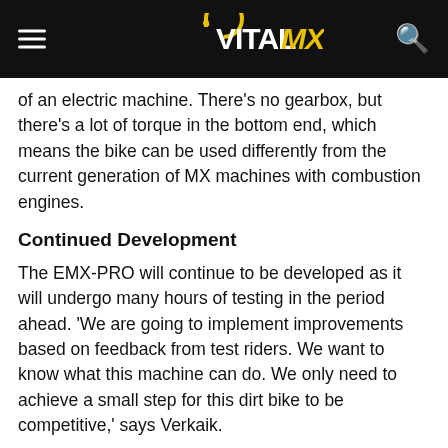VITAL MX
of an electric machine. There's no gearbox, but there's a lot of torque in the bottom end, which means the bike can be used differently from the current generation of MX machines with combustion engines.
Continued Development
The EMX-PRO will continue to be developed as it will undergo many hours of testing in the period ahead. 'We are going to implement improvements based on feedback from test riders. We want to know what this machine can do. We only need to achieve a small step for this dirt bike to be competitive,' says Verkaik.
To see the EMX-PRO's latest developments, go to www.emx-powertrain.com.
About the EMX-PRO
The EMX-PRO is a collaboration between ELEO and Dohms Projecten B.V. This project is supported by Yamaha Europe N.V. and the Association for Motorcycling in the Netherlands (KNMV).